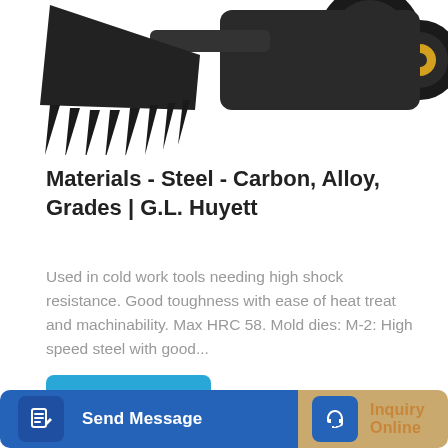[Figure (photo): Partial top view of a large black front loader / wheel loader machine with yellow-rimmed tires and a bucket with teeth, photographed against white background.]
Materials - Steel - Carbon, Alloy, Grades | G.L. Huyett
Used in cold work tools needing high shock resistance. Good toughness with ease of heat treat and machinability. Max HRC 58. Mold dies: M-2: High speed steel with good...
[Figure (other): Learn More button — teal/blue rounded rectangle button with white text.]
[Figure (photo): Yellow XCMG excavator/digger machine with arm extended, photographed against white background, partially visible.]
[Figure (other): Bottom action bar with two buttons: 'Send Message' on blue background with edit icon, and 'Inquiry Online' on tan/gold background with headset icon.]